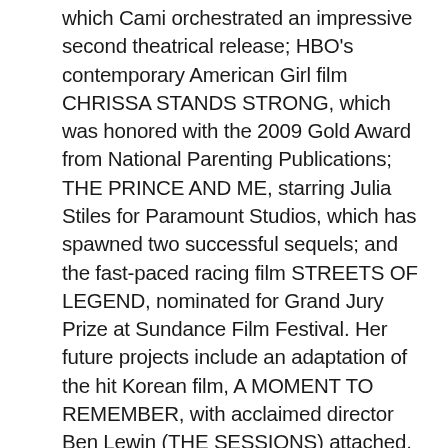which Cami orchestrated an impressive second theatrical release; HBO's contemporary American Girl film CHRISSA STANDS STRONG, which was honored with the 2009 Gold Award from National Parenting Publications; THE PRINCE AND ME, starring Julia Stiles for Paramount Studios, which has spawned two successful sequels; and the fast-paced racing film STREETS OF LEGEND, nominated for Grand Jury Prize at Sundance Film Festival. Her future projects include an adaptation of the hit Korean film, A MOMENT TO REMEMBER, with acclaimed director Ben Lewin (THE SESSIONS) attached. Winikoff has also successfully completed a deal with Sony Pictures to acquire the rights to the highly commercial Zorro franchise for an upcoming motion picture.